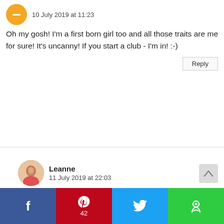10 July 2019 at 11:23
Oh my gosh! I'm a first born girl too and all those traits are me for sure! It's uncanny! If you start a club - I'm in! :-)
Leanne
11 July 2019 at 22:03
Your invitation's in the mail Min - it's weird how much these traits are an intrinsic part of us isn't it? I wonder what I would have been like if I'd been born last instead? Quite weird to think about for any length of time (it does my orderly head in!)